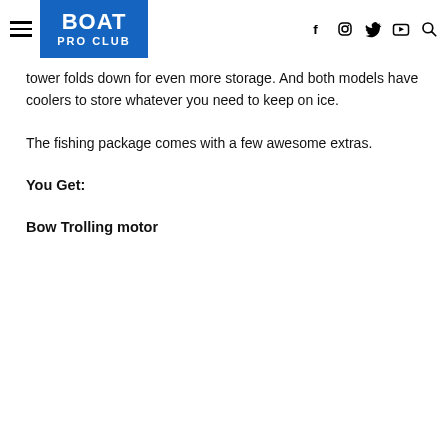BOAT PRO CLUB
tower folds down for even more storage. And both models have coolers to store whatever you need to keep on ice.
The fishing package comes with a few awesome extras.
You Get:
Bow Trolling motor